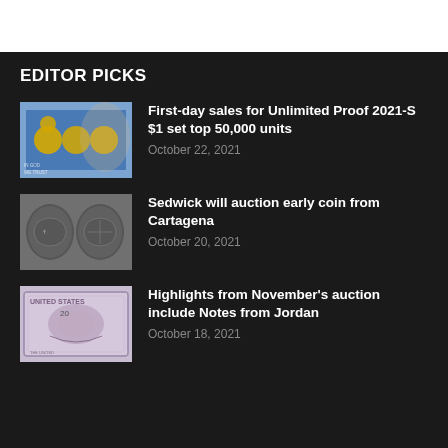EDITOR PICKS
First-day sales for Unlimited Proof 2021-S $1 set top 50,000 units — October 22, 2021
Sedwick will auction early coin from Cartagena — October 20, 2021
Highlights from November's auction include Notes from Jordan — October 18, 2021